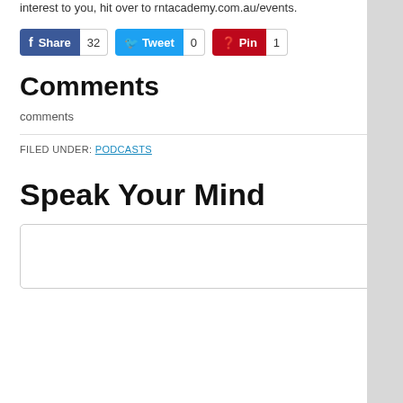interest to you, hit over to rntacademy.com.au/events.
[Figure (other): Social sharing buttons: Facebook Share (32), Tweet (0), Pin (1)]
Comments
comments
FILED UNDER: PODCASTS
Speak Your Mind
Comment text input box (empty)